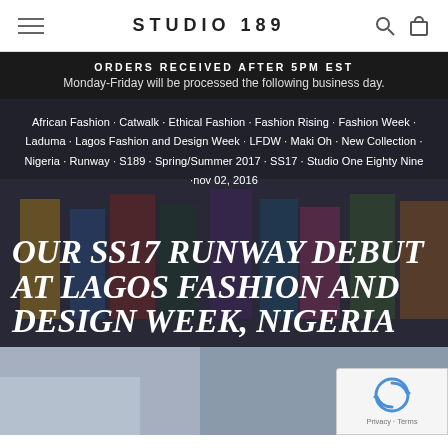STUDIO 189
ORDERS RECEIVED AFTER 5PM EST Monday-Friday will be processed the following business day.
[Figure (photo): Fashion runway photo showing models in colorful garments with overlaid tags and article title text: 'African Fashion · Catwalk · Ethical Fashion · Fashion Rising · Fashion Week · Laduma · Lagos Fashion and Design Week · LFDW · Maki Oh · New Collection · Nigeria · Runway · S189 · Spring/Summer 2017 · SS17 · Studio One Eighty Nine · nov 02, 2016' and title 'OUR SS17 RUNWAY DEBUT AT LAGOS FASHION AND DESIGN WEEK, NIGERIA']
[Figure (photo): Partial photo below the hero, showing a fashion event setting with STUDIO branding partially visible, with a reCAPTCHA Privacy · Terms badge overlaid at the bottom right.]